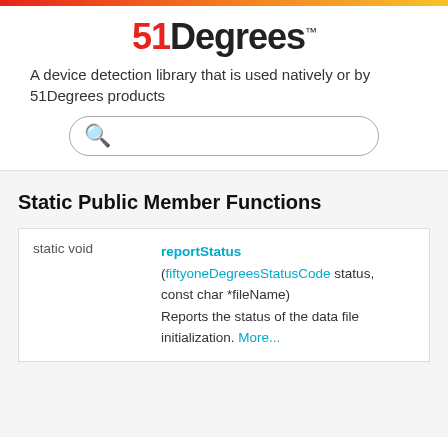[Figure (logo): 51Degrees logo with trademark symbol]
A device detection library that is used natively or by 51Degrees products
[Figure (other): Search box with orange search icon]
Static Public Member Functions
|  |  |
| --- | --- |
| static void | reportStatus (fiftyoneDegreesStatusCode status, const char *fileName)
Reports the status of the data file initialization. More... |